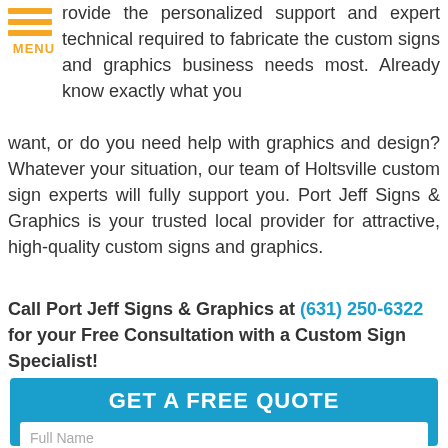[Figure (illustration): Orange hamburger menu icon with three horizontal bars and MENU label below]
provide the personalized support and expert technical required to fabricate the custom signs and graphics business needs most. Already know exactly what you want, or do you need help with graphics and design? Whatever your situation, our team of Holtsville custom sign experts will fully support you. Port Jeff Signs & Graphics is your trusted local provider for attractive, high-quality custom signs and graphics.
Call Port Jeff Signs & Graphics at (631) 250-6322 for your Free Consultation with a Custom Sign Specialist!
[Figure (other): Teal form section with GET A FREE QUOTE heading and input fields for Full Name, Best Phone, Email Address, and What type and size of signage do you need?, with phone and email icon circles at bottom right]